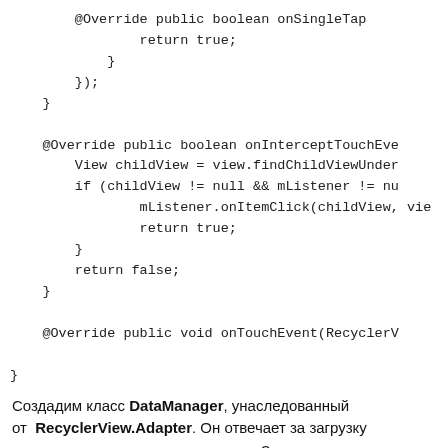@Override public boolean onSingleTap
            return true;
        }
    });
}
@Override public boolean onInterceptTouchEve
    View childView = view.findChildViewUnder
    if (childView != null && mListener != nu
            mListener.onItemClick(childView, vie
            return true;
    }
    return false;
}
@Override public void onTouchEvent(RecyclerV
}
Создадим класс DataManager, унаследованный от RecyclerView.Adapter. Он отвечает за загрузку данных и заполнение ними списка. Здесь мы также